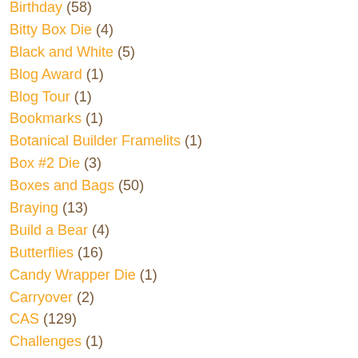Birthday (58)
Bitty Box Die (4)
Black and White (5)
Blog Award (1)
Blog Tour (1)
Bookmarks (1)
Botanical Builder Framelits (1)
Box #2 Die (3)
Boxes and Bags (50)
Braying (13)
Build a Bear (4)
Butterflies (16)
Candy Wrapper Die (1)
Carryover (2)
CAS (129)
Challenges (1)
Chipboard (1)
Christmas (137)
Circle Dies (4)